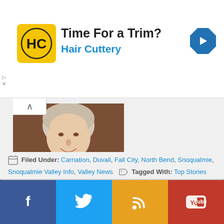[Figure (infographic): Hair Cuttery advertisement banner with HC logo, text 'Time For a Trim?' and 'Hair Cuttery', navigation arrow icon on right]
[Figure (photo): Portrait photo of a woman (Peggy Shepard) smiling, wearing a black jacket, with brown background]
Ethics Examiner Rules Snoqualmie Councilmember and Mayoral Candidate Peggy Shepard Violated Ethics Code; Issues a Letter of Censure
Filed Under: Carnation, Duvall, Fall City, North Bend, Snoqualmie, Snoqualmie Valley Info, Valley News Tagged With: Top Stories
[Figure (infographic): Social media buttons bar: Facebook (blue), Twitter (light blue), RSS (orange), YouTube (red)]